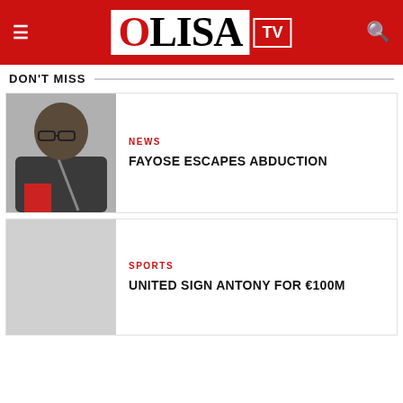OLISA TV
DON'T MISS
[Figure (photo): Photo of a man wearing glasses and a seatbelt, sitting in a vehicle]
NEWS
FAYOSE ESCAPES ABDUCTION
[Figure (photo): Placeholder image for sports article]
SPORTS
UNITED SIGN ANTONY FOR €100M